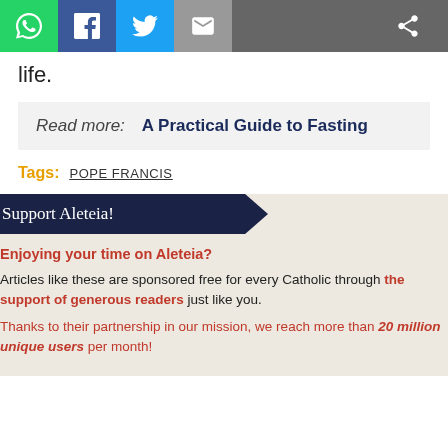[Figure (screenshot): Social sharing bar with WhatsApp, Facebook, Twitter, email, and share buttons]
life.
Read more:   A Practical Guide to Fasting
Tags:   POPE FRANCIS
Support Aleteia!
Enjoying your time on Aleteia?
Articles like these are sponsored free for every Catholic through the support of generous readers just like you.
Thanks to their partnership in our mission, we reach more than 20 million unique users per month!